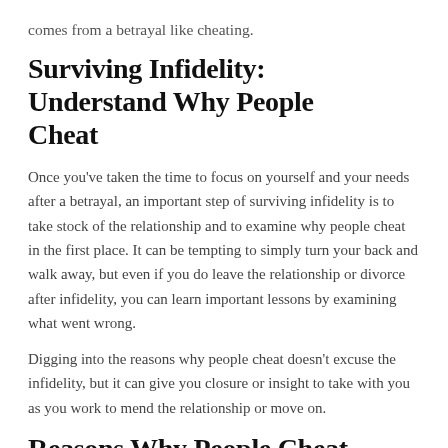comes from a betrayal like cheating.
Surviving Infidelity: Understand Why People Cheat
Once you've taken the time to focus on yourself and your needs after a betrayal, an important step of surviving infidelity is to take stock of the relationship and to examine why people cheat in the first place. It can be tempting to simply turn your back and walk away, but even if you do leave the relationship or divorce after infidelity, you can learn important lessons by examining what went wrong.
Digging into the reasons why people cheat doesn't excuse the infidelity, but it can give you closure or insight to take with you as you work to mend the relationship or move on.
Reasons Why People Cheat